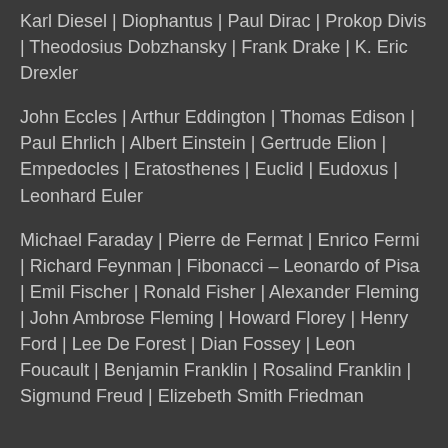Karl Diesel | Diophantus | Paul Dirac | Prokop Divis | Theodosius Dobzhansky | Frank Drake | K. Eric Drexler
John Eccles | Arthur Eddington | Thomas Edison | Paul Ehrlich | Albert Einstein | Gertrude Elion | Empedocles | Eratosthenes | Euclid | Eudoxus | Leonhard Euler
Michael Faraday | Pierre de Fermat | Enrico Fermi | Richard Feynman | Fibonacci – Leonardo of Pisa | Emil Fischer | Ronald Fisher | Alexander Fleming | John Ambrose Fleming | Howard Florey | Henry Ford | Lee De Forest | Dian Fossey | Leon Foucault | Benjamin Franklin | Rosalind Franklin | Sigmund Freud | Elizebeth Smith Friedman